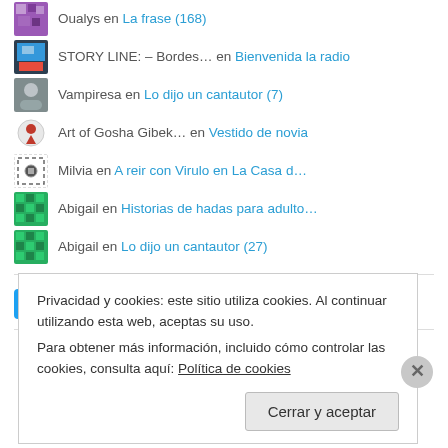Oualys en La frase (168)
STORY LINE: – Bordes… en Bienvenida la radio
Vampiresa en Lo dijo un cantautor (7)
Art of Gosha Gibek… en Vestido de novia
Milvia en A reir con Virulo en La Casa d…
Abigail en Historias de hadas para adulto…
Abigail en Lo dijo un cantautor (27)
Seguir a @adrian_rafael   1.344 seguidores
Privacidad y cookies: este sitio utiliza cookies. Al continuar utilizando esta web, aceptas su uso.
Para obtener más información, incluido cómo controlar las cookies, consulta aquí: Política de cookies
Cerrar y aceptar